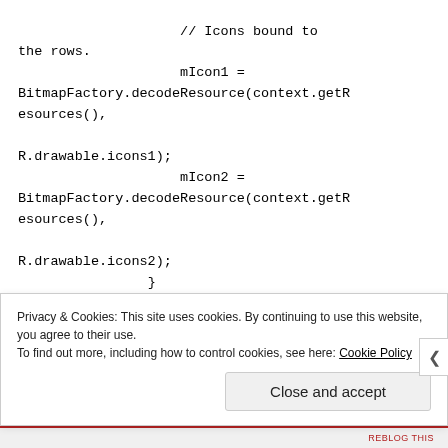// Icons bound to the rows.
                    mIcon1 =
BitmapFactory.decodeResource(context.getResources(),

R.drawable.icons1);
                    mIcon2 =
BitmapFactory.decodeResource(context.getResources(),

R.drawable.icons2);
                }
Privacy & Cookies: This site uses cookies. By continuing to use this website, you agree to their use.
To find out more, including how to control cookies, see here: Cookie Policy
Close and accept